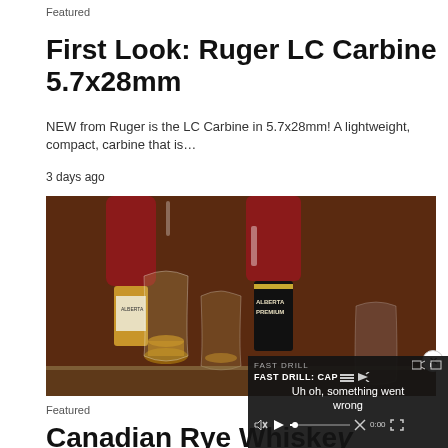Featured
First Look: Ruger LC Carbine 5.7x28mm
NEW from Ruger is the LC Carbine in 5.7x28mm! A lightweight, compact, carbine that is…
3 days ago
[Figure (photo): Photo of whisky/whiskey bottles including Alberta Premium brand with glasses of amber spirit on a reflective surface]
Featured
Canadian Rye Whiske…
[Figure (screenshot): Video player overlay showing 'FAST DRILL: CAP' title and error message 'Uh oh, something went wrong' with media controls at bottom, and close X button]